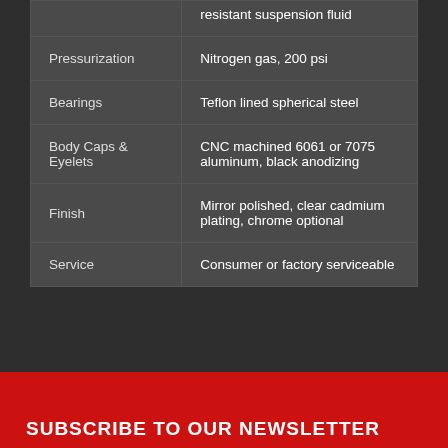| Feature | Specification |
| --- | --- |
|  | resistant suspension fluid |
| Pressurization | Nitrogen gas, 200 psi |
| Bearings | Teflon lined spherical steel |
| Body Caps & Eyelets | CNC machined 6061 or 7075 aluminum, black anodizing |
| Finish | Mirror polished, clear cadmium plating, chrome optional |
| Service | Consumer or factory serviceable |
SUBSCRIBE TO OUR NEWSLETTER